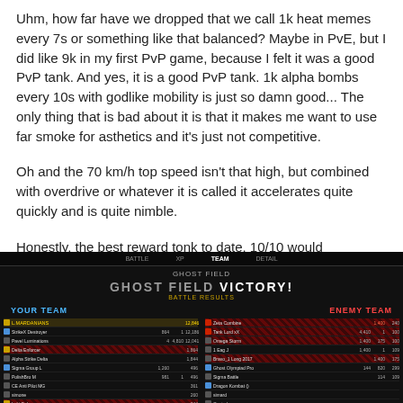Uhm, how far have we dropped that we call 1k heat memes every 7s or something like that balanced? Maybe in PvE, but I did like 9k in my first PvP game, because I felt it was a good PvP tank. And yes, it is a good PvP tank. 1k alpha bombs every 10s with godlike mobility is just so damn good... The only thing that is bad about it is that it makes me want to use far smoke for asthetics and it's just not competitive.
Oh and the 70 km/h top speed isn't that high, but combined with overdrive or whatever it is called it accelerates quite quickly and is quite nimble.
Honestly, the best reward tonk to date, 10/10 would recommend, borderline OP
[Figure (screenshot): World of Tanks or similar tank game post-battle results screen showing 'GHOST FIELD VICTORY!' with YOUR TEAM on the left and ENEMY TEAM on the right, displaying player names, tank names, and battle statistics on a dark background.]